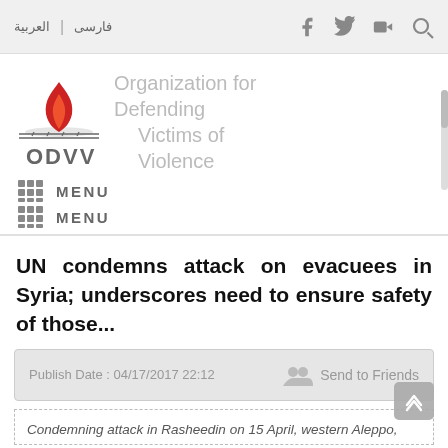العربية | فارسی
[Figure (logo): ODVV logo: red flame above crossed lines, with text 'Organization for Defending Victims of Violence' and 'ODVV']
MENU
MENU
UN condemns attack on evacuees in Syria; underscores need to ensure safety of those...
Publish Date : 04/17/2017 22:12    Send to Friends
Condemning attack in Rasheedin on 15 April, western Aleppo,